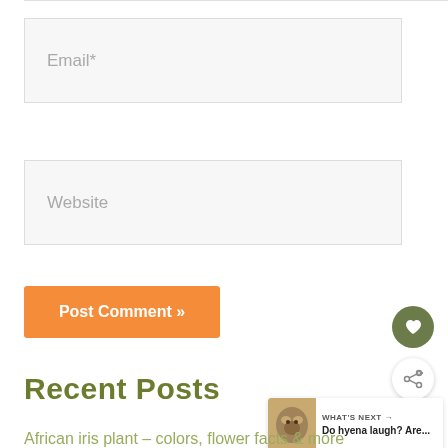Email*
Website
Post Comment »
Recent Posts
WHAT'S NEXT → Do hyena laugh? Are...
African iris plant – colors, flower facts & more